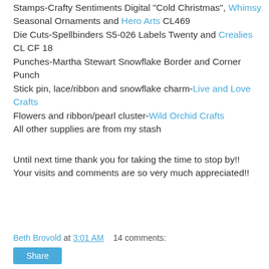Stamps-Crafty Sentiments Digital "Cold Christmas", Whimsy Seasonal Ornaments and Hero Arts CL469
Die Cuts-Spellbinders S5-026 Labels Twenty and Crealies CL CF 18
Punches-Martha Stewart Snowflake Border and Corner Punch
Stick pin, lace/ribbon and snowflake charm-Live and Love Crafts
Flowers and ribbon/pearl cluster-Wild Orchid Crafts
All other supplies are from my stash
Until next time thank you for taking the time to stop by!!  Your visits and comments are so very much appreciated!!
Beth Brovold at 3:01 AM     14 comments: